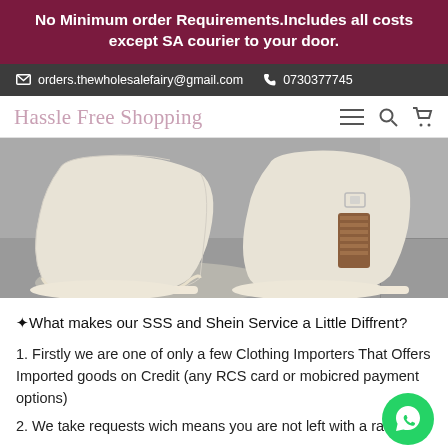No Minimum order Requirements.Includes all costs except SA courier to your door.
orders.thewholesalefairy@gmail.com   0730377745
Hassle Free Shopping
[Figure (photo): Close-up photo of cream/off-white women's ankle boots with a wooden block heel, viewed from the toe area, standing on a grey pavement/tile surface.]
✦What makes our SSS and Shein Service a Little Diffrent?
1. Firstly we are one of only a few Clothing Importers That Offers Imported goods on Credit (any RCS card or mobicred payment options)
2. We take requests wich means you are not left with a ran...